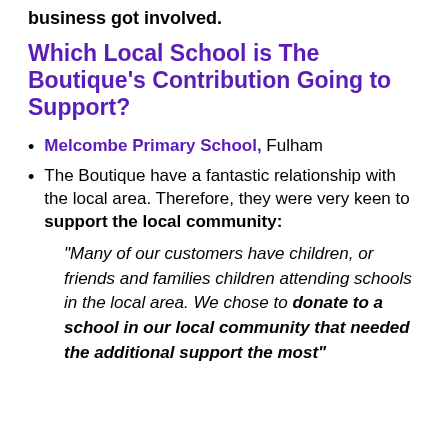business got involved.
Which Local School is The Boutique's Contribution Going to Support?
Melcombe Primary School, Fulham
The Boutique have a fantastic relationship with the local area. Therefore, they were very keen to support the local community:
“Many of our customers have children, or friends and families children attending schools in the local area. We chose to donate to a school in our local community that needed the additional support the most”